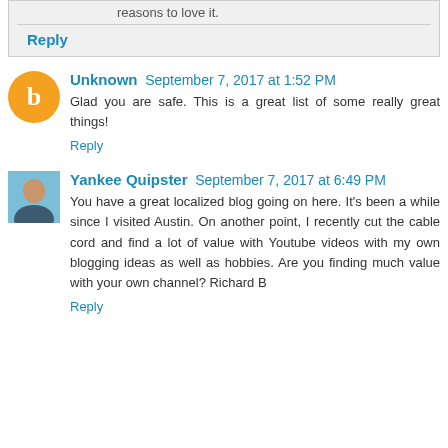reasons to love it.
Reply
Unknown  September 7, 2017 at 1:52 PM
Glad you are safe. This is a great list of some really great things!
Reply
Yankee Quipster  September 7, 2017 at 6:49 PM
You have a great localized blog going on here. It's been a while since I visited Austin. On another point, I recently cut the cable cord and find a lot of value with Youtube videos with my own blogging ideas as well as hobbies. Are you finding much value with your own channel? Richard B
Reply